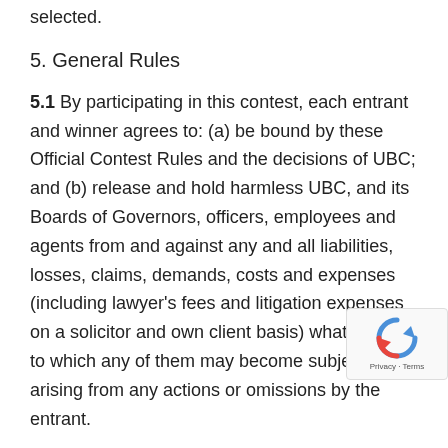selected.
5. General Rules
5.1 By participating in this contest, each entrant and winner agrees to: (a) be bound by these Official Contest Rules and the decisions of UBC; and (b) release and hold harmless UBC, and its Boards of Governors, officers, employees and agents from and against any and all liabilities, losses, claims, demands, costs and expenses (including lawyer’s fees and litigation expenses on a solicitor and own client basis) whatsoever to which any of them may become subject arising from any actions or omissions by the entrant.
5.2 By participating in this contest, each entrant and